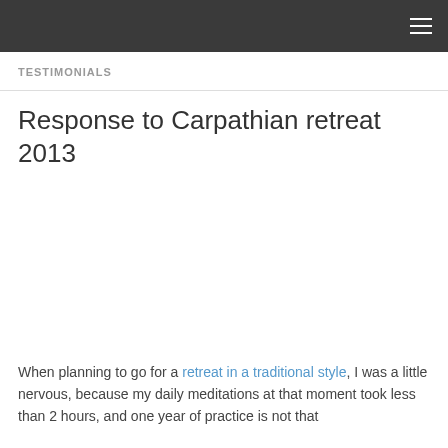TESTIMONIALS
Response to Carpathian retreat 2013
When planning to go for a retreat in a traditional style, I was a little nervous, because my daily meditations at that moment took less than 2 hours, and one year of practice is not that